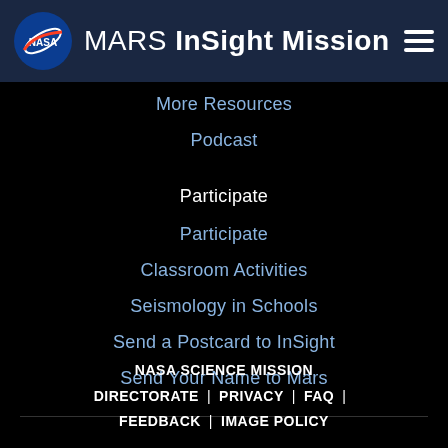MARS InSight Mission
More Resources
Podcast
Participate
Participate
Classroom Activities
Seismology in Schools
Send a Postcard to InSight
Send Your Name to Mars
NASA SCIENCE MISSION DIRECTORATE  |  PRIVACY  |  FAQ  |  FEEDBACK  |  IMAGE POLICY